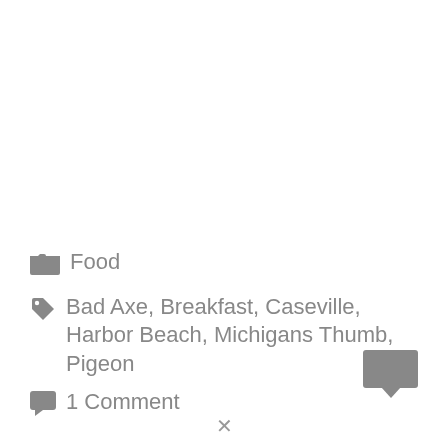Food
Bad Axe, Breakfast, Caseville, Harbor Beach, Michigans Thumb, Pigeon
1 Comment